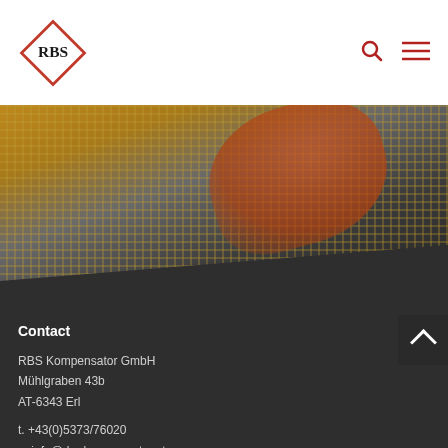[Figure (logo): RBS diamond-shaped logo with red border and black text]
[Figure (photo): Close-up photo of industrial compensator/expansion joint installation, dark machinery with yellow grid in background and hand visible]
Contact
RBS Kompensator GmbH
Mühlgraben 43b
AT-6343 Erl
t. +43(0)5373/76020
e. info@rbs-kompensator.at